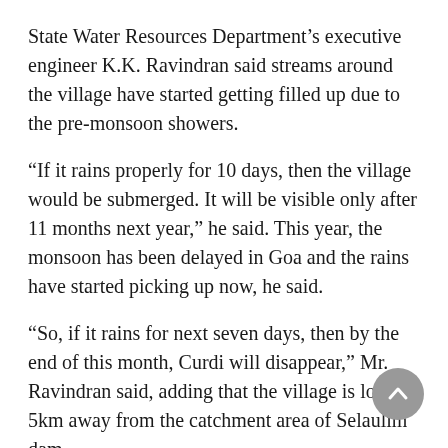State Water Resources Department's executive engineer K.K. Ravindran said streams around the village have started getting filled up due to the pre-monsoon showers.
“If it rains properly for 10 days, then the village would be submerged. It will be visible only after 11 months next year,” he said. This year, the monsoon has been delayed in Goa and the rains have started picking up now, he said.
“So, if it rains for next seven days, then by the end of this month, Curdi will disappear,” Mr. Ravindran said, adding that the village is located 5km away from the catchment area of Selaulim dam.
Locals claim that before getting submerged, the village turns into an island for a few hours and then slowly